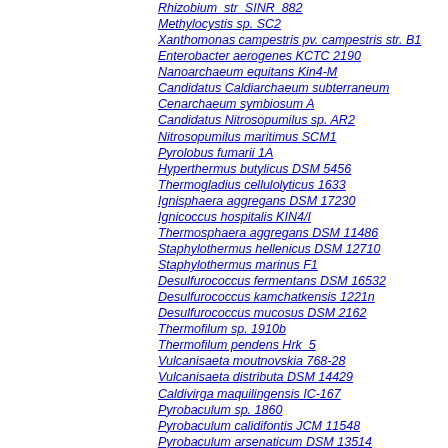Rhizobium_str_SINR_882
Methylocystis sp. SC2
Xanthomonas campestris pv. campestris str. B1
Enterobacter aerogenes KCTC 2190
Nanoarchaeum equitans Kin4-M
Candidatus Caldiarchaeum subterraneum
Cenarchaeum symbiosum A
Candidatus Nitrosopumilus sp. AR2
Nitrosopumilus maritimus SCM1
Pyrolobus fumarii 1A
Hyperthermus butylicus DSM 5456
Thermogladius cellulolyticus 1633
Ignisphaera aggregans DSM 17230
Ignicoccus hospitalis KIN4/I
Thermosphaera aggregans DSM 11486
Staphylothermus hellenicus DSM 12710
Staphylothermus marinus F1
Desulfurococcus fermentans DSM 16532
Desulfurococcus kamchatkensis 1221n
Desulfurococcus mucosus DSM 2162
Thermofilum sp. 1910b
Thermofilum pendens Hrk 5
Vulcanisaeta moutnovskia 768-28
Vulcanisaeta distributa DSM 14429
Caldivirga maquilingensis IC-167
Pyrobaculum sp. 1860
Pyrobaculum calidifontis JCM 11548
Pyrobaculum arsenaticum DSM 13514
Pyrobaculum oguniense TE7
Thermoproteus neutrophilus V24Sta
Pyrobaculum aerophilum str. IM2